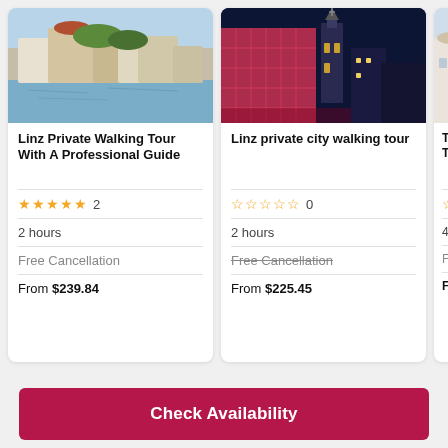[Figure (photo): Aerial daytime photo of Linz city with riverside buildings and reflections]
Linz Private Walking Tour With A Professional Guide
★★★★★ 2
2 hours
Free Cancellation
From $239.84
[Figure (photo): Nighttime photo of Linz with illuminated modern building and church tower]
Linz private city walking tour
☆☆☆☆☆ 0
2 hours
Free Cancellation (strikethrough)
From $225.45
[Figure (photo): Partial photo of third tour card]
The [name] Tour
☆☆ (partial)
4 ho...
Free...
From...
Check Availability